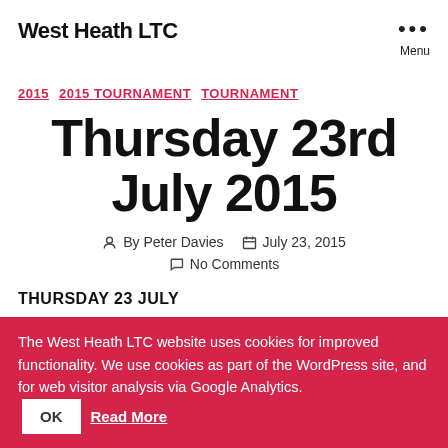West Heath LTC
2015  2015 TOURNAMENT  TOURNAMENT
Thursday 23rd July 2015
By Peter Davies   July 23, 2015   No Comments
THURSDAY 23 JULY
The West Heath LTC website uses cookies for improved functionality. We use cookies as part of the WordPress site, and for web visitor analysis via Google Analytics. OK  Read More